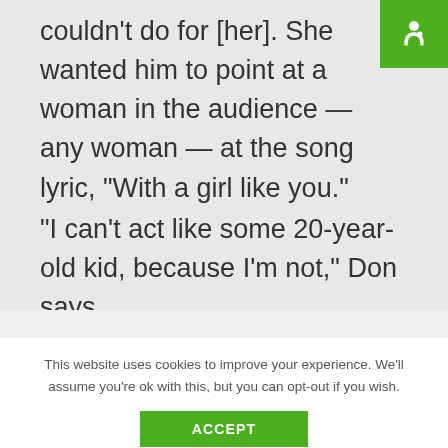couldn't do for [her]. She wanted him to point at a woman in the audience — any woman — at the song lyric, “With a girl like you.”
“I can’t act like some 20-year-old kid, because I’m not,” Don says.
This website uses cookies to improve your experience. We'll assume you're ok with this, but you can opt-out if you wish.
ACCEPT